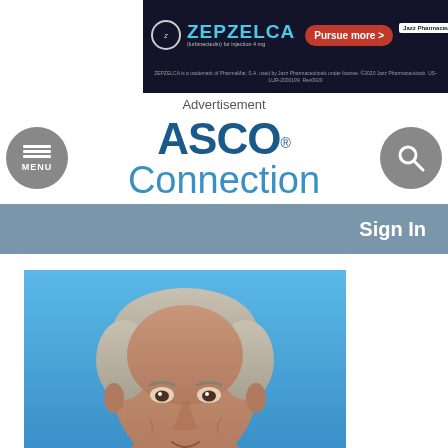[Figure (photo): ZEPZELCA (lurbinectedin) for injection 4mg advertisement banner. Dark background with teal brand name, red 'Pursue more >' button, Jazz Pharmaceuticals branding. Tagline: ZEPZELCA is a trademark of PharmaMar, S.A. used by Jazz Pharmaceuticals under license. ©2020 Jazz Pharmaceuticals US-LUR-2000199 Rev0920]
Advertisement
[Figure (logo): ASCO Connection website header with menu button (hamburger icon in gray circle), ASCO Connection logo in blue text, and search button (magnifying glass in gray circle)]
Sign In
[Figure (photo): Headshot of an older man with gray hair against a blue sky background]